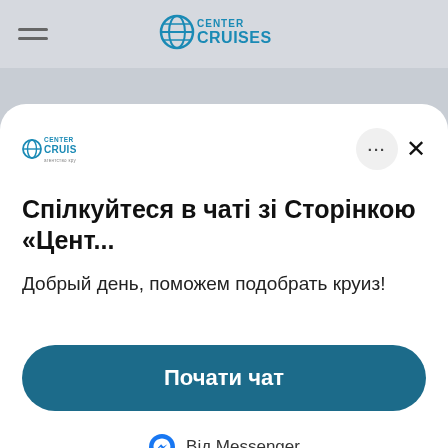[Figure (screenshot): Center Cruises website header with hamburger menu icon on the left and Center Cruises logo centered]
[Figure (screenshot): Facebook Messenger chat popup card with Center Cruises logo, three-dot menu, close button, Ukrainian title text 'Спілкуйтеся в чаті зі Сторінкою «Цент...', subtitle 'Добрый день, поможем подобрать круиз!', a teal 'Почати чат' button, and 'Від Messenger' footer]
Спілкуйтеся в чаті зі Сторінкою «Цент...
Добрый день, поможем подобрать круиз!
Почати чат
Від Messenger